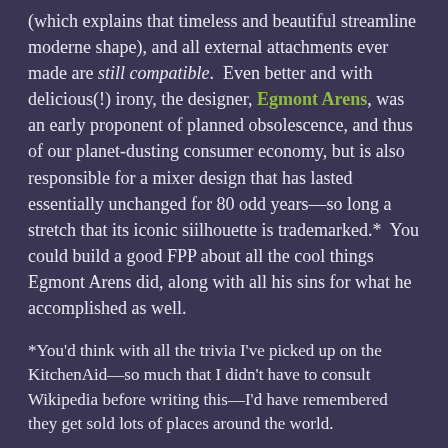(which explains that timeless and beautiful streamline moderne shape), and all external attachments ever made are still compatible.  Even better and with delicious(!) irony, the designer, Egmont Arens, was an early proponent of planned obsolescence, and thus of our planet-dusting consumer economy, but is also responsible for a mixer design that has lasted essentially unchanged for 80 odd years—so long a stretch that its iconic siilhouette is trademarked.*  You could build a good FPP about all the cool things Egmont Arens did, along with all his sins for what he accomplished as well.
*You'd think with all the trivia I've picked up on the KitchenAid—so much that I didn't have to consult Wikipedia before writing this—I'd have remembered they get sold lots of places around the world.
posted by los pantalones del muerte at 9:31 AM on October 17, 2018 [9 favorites]